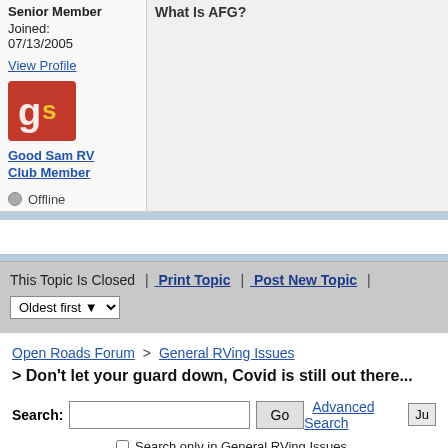Senior Member
Joined: 07/13/2005
View Profile
[Figure (logo): Good Sam RV Club logo - red background with stylized 'gs' in white/gold]
Good Sam RV Club Member
Offline
This Topic Is Closed  |  Print Topic  |  Post New Topic  |
Oldest first
Open Roads Forum > General RVing Issues
> Don't let your guard down, Covid is still out there...
Search:
Go
Advanced Search
Search only in General RVing Issues